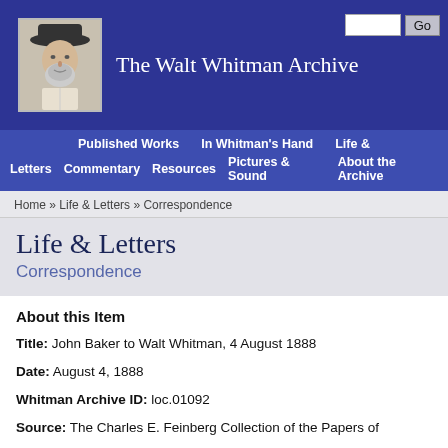The Walt Whitman Archive
[Figure (illustration): Black and white portrait sketch of Walt Whitman wearing a hat]
Published Works  In Whitman's Hand  Life & Letters  Commentary  Resources  Pictures & Sound  About the Archive
Home » Life & Letters » Correspondence
Life & Letters
Correspondence
About this Item
Title: John Baker to Walt Whitman, 4 August 1888
Date: August 4, 1888
Whitman Archive ID: loc.01092
Source: The Charles E. Feinberg Collection of the Papers of